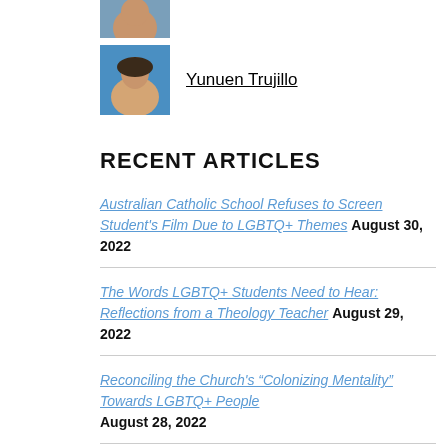[Figure (photo): Partial photo of a person (top of head/face), cropped at top of page]
[Figure (photo): Photo of Yunuen Trujillo, a woman with dark hair, blue background]
Yunuen Trujillo
RECENT ARTICLES
Australian Catholic School Refuses to Screen Student's Film Due to LGBTQ+ Themes August 30, 2022
The Words LGBTQ+ Students Need to Hear: Reflections from a Theology Teacher August 29, 2022
Reconciling the Church's “Colonizing Mentality” Towards LGBTQ+ People August 28, 2022